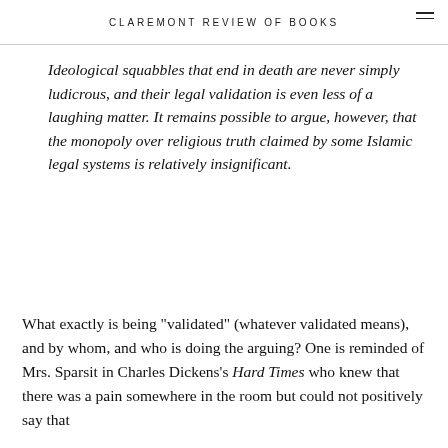CLAREMONT REVIEW OF BOOKS
Ideological squabbles that end in death are never simply ludicrous, and their legal validation is even less of a laughing matter. It remains possible to argue, however, that the monopoly over religious truth claimed by some Islamic legal systems is relatively insignificant.
What exactly is being "validated" (whatever validated means), and by whom, and who is doing the arguing? One is reminded of Mrs. Sparsit in Charles Dickens's Hard Times who knew that there was a pain somewhere in the room but could not positively say that